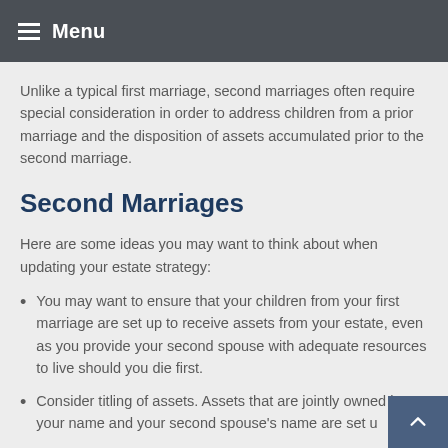Menu
Unlike a typical first marriage, second marriages often require special consideration in order to address children from a prior marriage and the disposition of assets accumulated prior to the second marriage.
Second Marriages
Here are some ideas you may want to think about when updating your estate strategy:
You may want to ensure that your children from your first marriage are set up to receive assets from your estate, even as you provide your second spouse with adequate resources to live should you die first.
Consider titling of assets. Assets that are jointly owned in your name and your second spouse's name are set up...